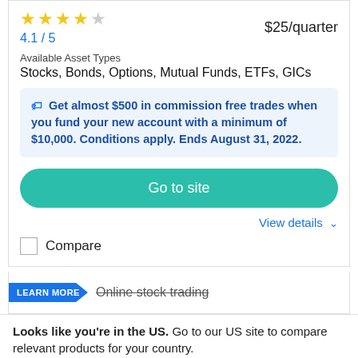4.1 / 5   $25/quarter
Available Asset Types
Stocks, Bonds, Options, Mutual Funds, ETFs, GICs
Get almost $500 in commission free trades when you fund your new account with a minimum of $10,000. Conditions apply. Ends August 31, 2022.
Go to site
View details
Compare
LEARN MORE   Online stock trading
Looks like you're in the US. Go to our US site to compare relevant products for your country.
Go to Finder US
No, stay on this page